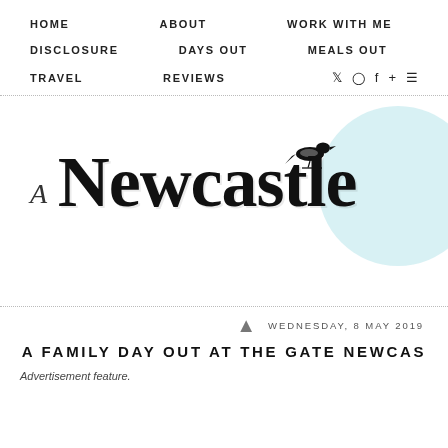HOME   ABOUT   WORK WITH ME   DISCLOSURE   DAYS OUT   MEALS OUT   TRAVEL   REVIEWS
[Figure (logo): A Newcastle Mam blog logo with hand-drawn lettering, a magpie bird perched on the N, and a teal watercolour circle in the background]
WEDNESDAY, 8 MAY 2019
A FAMILY DAY OUT AT THE GATE NEWCAS...
Advertisement feature.